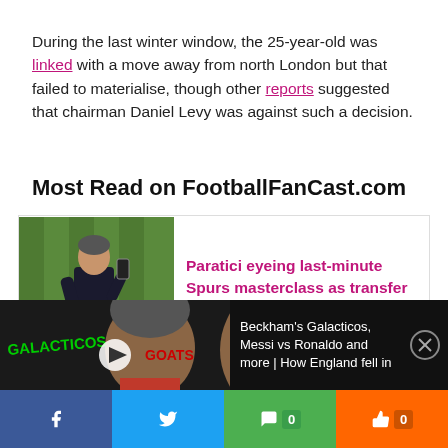During the last winter window, the 25-year-old was linked with a move away from north London but that failed to materialise, though other reports suggested that chairman Daniel Levy was against such a decision.
Most Read on FootballFanCast.com
[Figure (photo): Card with photo of a man in a dark suit holding a phone on a football pitch, beside linked article headline: Paratici eyeing last-minute Spurs masterclass as transfer insider drops exciting claim - opinion]
[Figure (screenshot): Video bar showing thumbnail with GALACTICOS and GOATS text and a man's face, with text: Beckham's Galacticos, Messi vs Ronaldo and more | How England fell in]
[Figure (infographic): Social sharing bar with Facebook, Twitter, comment, and like buttons]